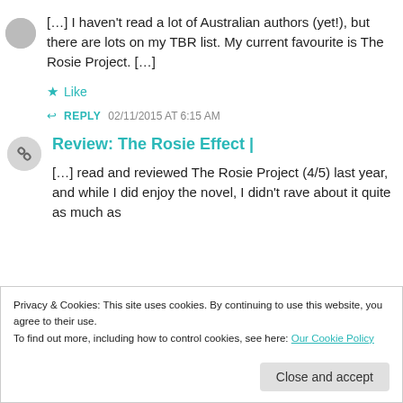[…] I haven't read a lot of Australian authors (yet!), but there are lots on my TBR list. My current favourite is The Rosie Project. […]
★ Like
↩ REPLY  02/11/2015 AT 6:15 AM
Review: The Rosie Effect |
[…] read and reviewed The Rosie Project (4/5) last year, and while I did enjoy the novel, I didn't rave about it quite as much as
Privacy & Cookies: This site uses cookies. By continuing to use this website, you agree to their use.
To find out more, including how to control cookies, see here: Our Cookie Policy
Close and accept